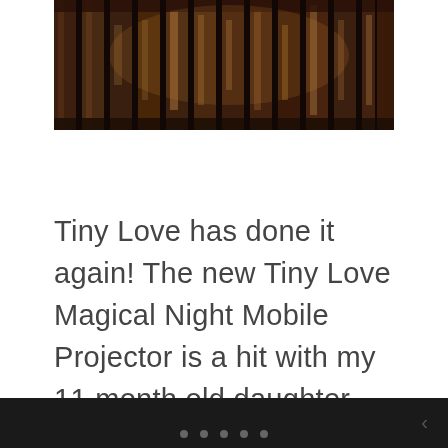[Figure (photo): Dark image of wooden crib slats viewed from above, warm amber tones with light filtering through vertical wooden bars]
Tiny Love has done it again! The new Tiny Love Magical Night Mobile Projector is a hit with my 11 month old daughter. Even her 2 year old brother thought it was the cutest. He has a music box on his crib still, so he really liked hers because it was new! 😊 He